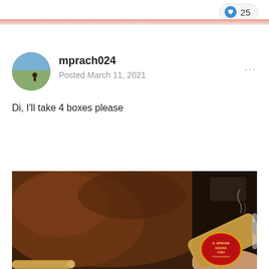[Figure (other): Like button with heart icon showing count of 25]
mprach024
Posted March 11, 2021
Di, I'll take 4 boxes please
[Figure (photo): Photo of an H. Upmann Habana Cuba cigar being held by a person's hand, with a brown leather couch in the background. The cigar band is red and gold with H. UPMANN HABANA CUBA CONNOISSEUR text.]